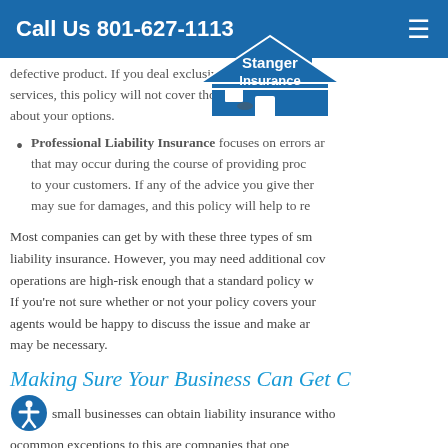Call Us 801-627-1113
[Figure (logo): Stanger Insurance logo with house and car icon]
defective product. If you deal exclusively in digital p... services, this policy will not cover those—ask one of... about your options.
Professional Liability Insurance focuses on errors an... that may occur during the course of providing proc... to your customers. If any of the advice you give them... may sue for damages, and this policy will help to re...
Most companies can get by with these three types of sm... liability insurance. However, you may need additional cov... operations are high-risk enough that a standard policy w... If you're not sure whether or not your policy covers your... agents would be happy to discuss the issue and make ar... may be necessary.
Making Sure Your Business Can Get C...
Mo...small businesses can obtain liability insurance witho... o...common exceptions to this are companies that ope... that are particularly high-risk—for example, companies p... for industrial use may find it harder to get coverage. If yo...